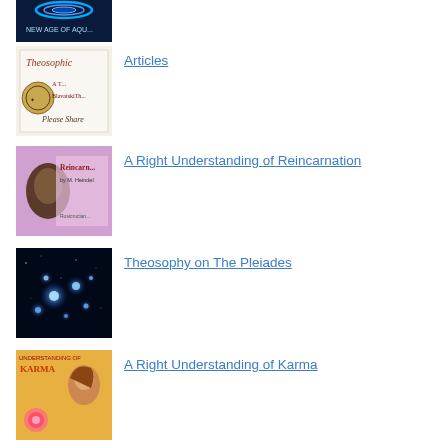[Figure (photo): Partial thumbnail - New Age of Aquarius style image, dark blue tones, partially visible at top]
Articles
[Figure (photo): Theosophical book cover thumbnail - brown/orange text on white background, Blavatsky themed]
A Right Understanding of Reincarnation
[Figure (photo): Book cover thumbnail - pink/purple background with person profile and Reincarnation text]
Theosophy on The Pleiades
[Figure (photo): Dark blue space image with blue glowing stars - Pleiades star cluster]
A Right Understanding of Karma
[Figure (photo): Book cover - woman profile, orange/gold tones, KARMA text visible]
[Figure (photo): Another thumbnail partially visible at bottom]